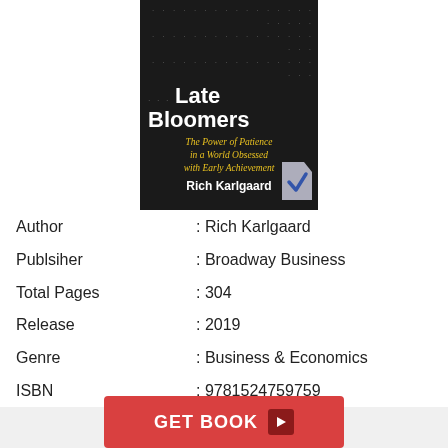[Figure (illustration): Book cover of 'Late Bloomers: The Power of Patience in a World Obsessed with Early Achievement' by Rich Karlgaard. Dark background with white title text, yellow subtitle, and decorative dot patterns.]
Author : Rich Karlgaard
Publsiher : Broadway Business
Total Pages : 304
Release : 2019
Genre : Business & Economics
ISBN : 9781524759759
GET BOOK ▶